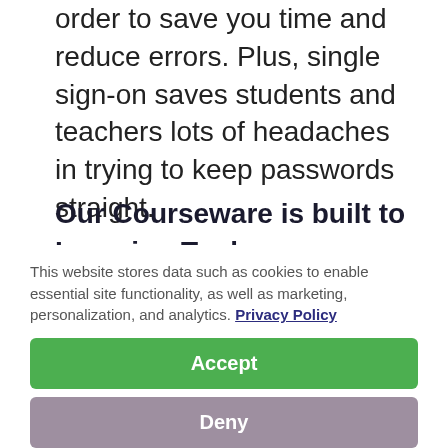order to save you time and reduce errors. Plus, single sign-on saves students and teachers lots of headaches in trying to keep passwords straight.
Our Courseware is built to Learning Tools Interoperability® standards
This website stores data such as cookies to enable essential site functionality, as well as marketing, personalization, and analytics. Privacy Policy
Accept
Deny